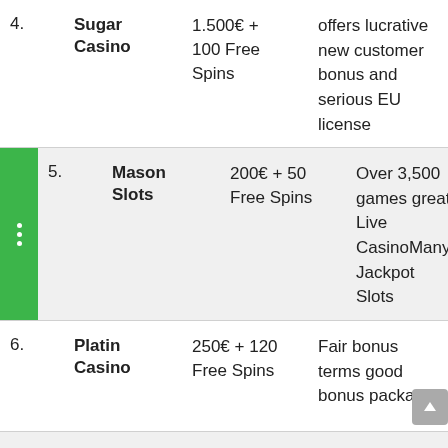| # | Casino | Bonus | Description |
| --- | --- | --- | --- |
| 4. | Sugar Casino | 1.500€ + 100 Free Spins | offers lucrative new customer bonus and serious EU license |
| 5. | Mason Slots | 200€ + 50 Free Spins | Over 3,500 games great Live CasinoMany Jackpot Slots |
| 6. | Platin Casino | 250€ + 120 Free Spins | Fair bonus terms good bonus package |
| 7. | Rant Casino | 1.000€ | High bonus very fast payouts Good games |